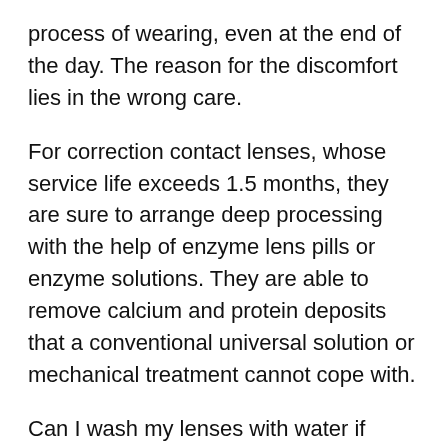process of wearing, even at the end of the day. The reason for the discomfort lies in the wrong care.
For correction contact lenses, whose service life exceeds 1.5 months, they are sure to arrange deep processing with the help of enzyme lens pills or enzyme solutions. They are able to remove calcium and protein deposits that a conventional universal solution or mechanical treatment cannot cope with.
Can I wash my lenses with water if there is no solution? In such cases, prepare a substitute independently and at the first opportunity buy a specialized tool. Self-made compositions will not allow the lenses to dry, but will not give any disinfectant effect.
Strictly exclude water from the tap: it contains